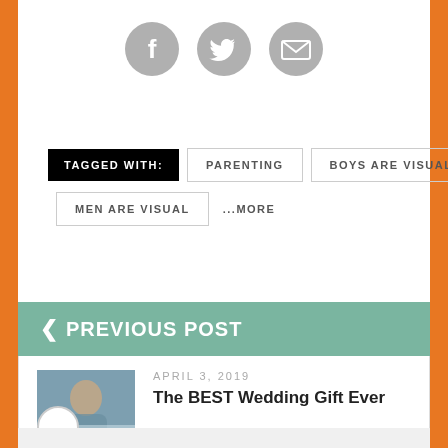[Figure (infographic): Social sharing icons: Facebook, Twitter, Email — grey circular icons centered at top]
TAGGED WITH: PARENTING BOYS ARE VISUAL MEN ARE VISUAL ...MORE
< PREVIOUS POST
APRIL 3, 2019
The BEST Wedding Gift Ever